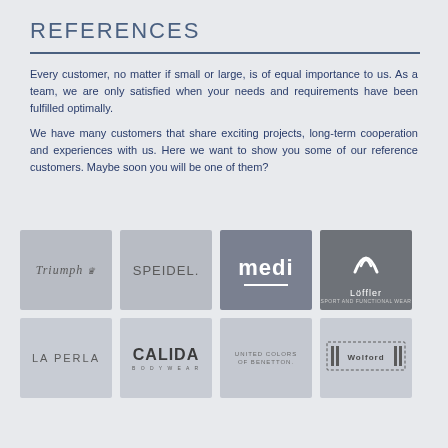REFERENCES
Every customer, no matter if small or large, is of equal importance to us. As a team, we are only satisfied when your needs and requirements have been fulfilled optimally.
We have many customers that share exciting projects, long-term cooperation and experiences with us. Here we want to show you some of our reference customers. Maybe soon you will be one of them?
[Figure (logo): Grid of 8 customer reference logos: Triumph, SPEIDEL, medi, Löffler, LA PERLA, CALIDA BODYWEAR, UNITED COLORS OF BENETTON, Wolford]